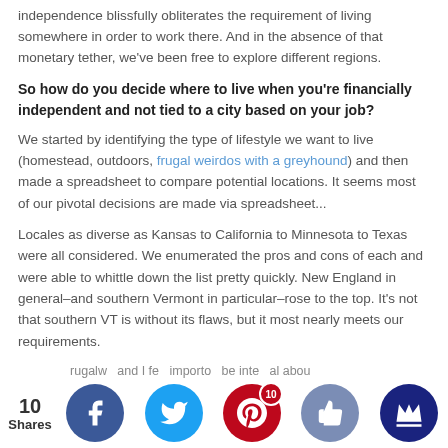independence blissfully obliterates the requirement of living somewhere in order to work there. And in the absence of that monetary tether, we've been free to explore different regions.
So how do you decide where to live when you're financially independent and not tied to a city based on your job?
We started by identifying the type of lifestyle we want to live (homestead, outdoors, frugal weirdos with a greyhound) and then made a spreadsheet to compare potential locations. It seems most of our pivotal decisions are made via spreadsheet...
Locales as diverse as Kansas to California to Minnesota to Texas were all considered. We enumerated the pros and cons of each and were able to whittle down the list pretty quickly. New England in general–and southern Vermont in particular–rose to the top. It's not that southern VT is without its flaws, but it most nearly meets our requirements.
...rugalw... and I fe... importo... be inte... al abou...